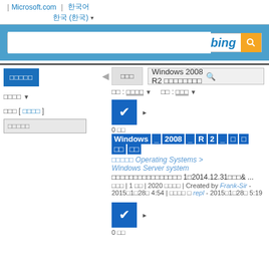| Microsoft.com | 한국어
한국 (한국) ▾
[Figure (screenshot): Bing search bar with blue background and Bing logo with orange search button]
□□□□ □□□   Windows 2008 R2 □□□□□□□□  🔍
□□□□ ▼   □□ : □□□□ ▼   □□ : □□□ ▼
□□□ [ □□□□ ]
0 □□
Windows _ 2008 _ R 2 _ □ □ □□ □□
□□□□□ Operating Systems > Windows Server system
□□□□□□□□□□□□□□□□□ 1□2014.12.31□□□& ...
□□□ | 1 □□ | 2020 □□□□ | Created by Frank-Sir - 2015□1□28□ 4:54 | □□□□ □ repl - 2015□1□28□ 5:19
0 □□